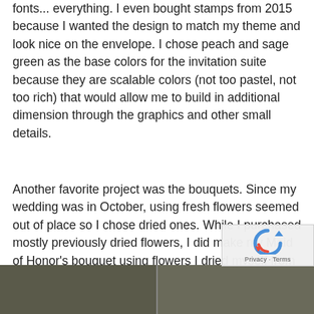fonts... everything. I even bought stamps from 2015 because I wanted the design to match my theme and look nice on the envelope. I chose peach and sage green as the base colors for the invitation suite because they are scalable colors (not too pastel, not too rich) that would allow me to build in additional dimension through the graphics and other small details.
Another favorite project was the bouquets. Since my wedding was in October, using fresh flowers seemed out of place so I chose dried ones. While I purchased mostly previously dried flowers, I did make my Maid of Honor's bouquet using flowers I dried myself from her wedding in April. For my own bouquet I used flowers from her wedding as well as home-dried flowers. Each bridesmaid's bouquet was inspired by her individual personality. I think it was really special!
[Figure (photo): Bottom strip showing two outdoor photos, partially visible]